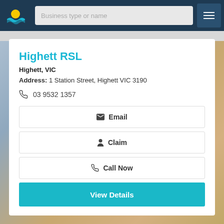Business type or name
Highett RSL
Highett, VIC
Address: 1 Station Street, Highett VIC 3190
03 9532 1357
Email
Claim
Call Now
View Details